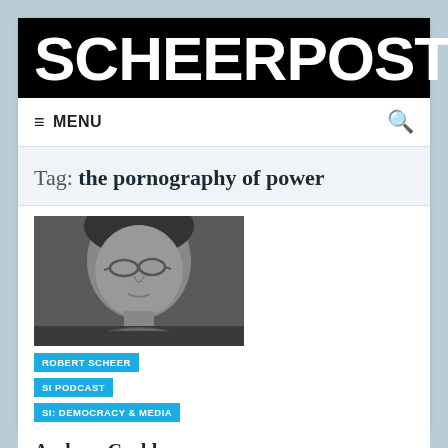SCHEERPOST
≡ MENU
Tag: the pornography of power
[Figure (photo): Black and white photo of a man with glasses, looking downward, middle-aged, with medium-length hair]
ROBERT SCHEER
SI PODCAST
SI: DEMOCRACY & MEDIA
Andrew Cockburn:
War by Multi-